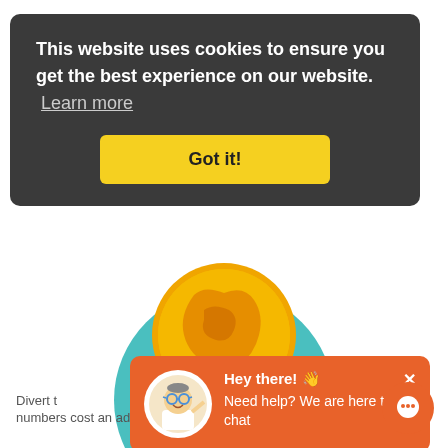[Figure (screenshot): Cookie consent banner overlay on a website. Dark gray rounded rectangle with white text reading 'This website uses cookies to ensure you get the best experience on our website. Learn more' and a yellow 'Got it!' button.]
[Figure (illustration): Teal circle with a gold coin illustration (globe/world map design on the coin) visible behind the cookie banner.]
[Figure (screenshot): Orange chat popup with a cartoon scientist avatar, text 'Hey there! Need help? We are here to chat' and a close X button.]
Divert t... h. 0800 numbers cost an additional 7/2ppm.
Pre pay
[Figure (illustration): Orange circular chat button with speech bubble icon in bottom right corner.]
[Figure (illustration): Top of a teal circle visible at the very bottom of the page.]